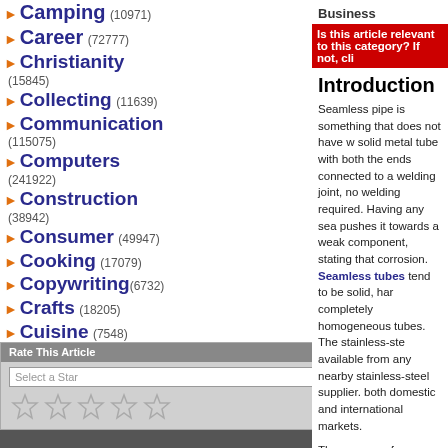Camping (10971)
Career (72777)
Christianity (15845)
Collecting (11639)
Communication (115075)
Computers (241922)
Construction (38942)
Consumer (49947)
Cooking (17079)
Copywriting (6732)
Crafts (18205)
Cuisine (7548)
Current Affairs (20308)
Dating (45902)
EBooks (19700)
E-Commerce
Entertainment (159838)
Environment (28924)
Business
Is this article relevant to this category? If not, cli
Introduction
Seamless pipe is something that does not have w... solid metal tube with both the ends connected to a welding joint, no welding required. Having any sea pushes it towards a weak component, stating that corrosion. Seamless tubes tend to be solid, hard completely homogeneous tubes. The stainless-ste available from any nearby stainless-steel supplier. both domestic and international markets.
The process of manufacturing seamless tubes sta billet, which is then heated at very high temperatu molded to form a hollow cylinder-like structure. It i in it, the metal sheets are being rolled and attache creating a well visible seam in it. Due to no seam ensile strength is more constant in and around the hese types of pipes are widely used in the world.
Uses
Seamless tubes are used in various places in liqu and other liquid conveyers; Steam and boiler man seamless tubes. Used in hydraulic components, d
Rate This Article
Select a Star